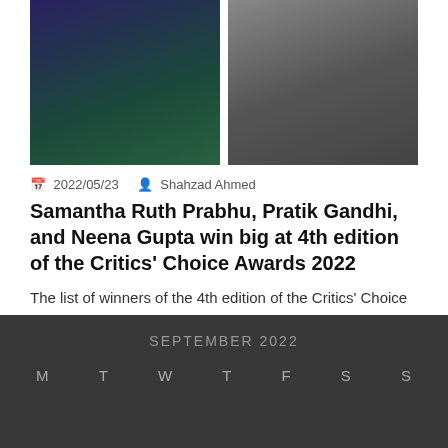[Figure (photo): Two side-by-side photos of award winners holding golden trophies at the Critics' Choice Awards 2022. Left photo shows a woman in a green dress, right photo shows a man in a checkered suit.]
2022/05/23   Shahzad Ahmed
Samantha Ruth Prabhu, Pratik Gandhi, and Neena Gupta win big at 4th edition of the Critics' Choice Awards 2022
The list of winners of the 4th edition of the Critics' Choice Awards 2022 has been…
Awards   Celebrities   News & Entertainment
SEPTEMBER 2022
M   T   W   T   F   S   S